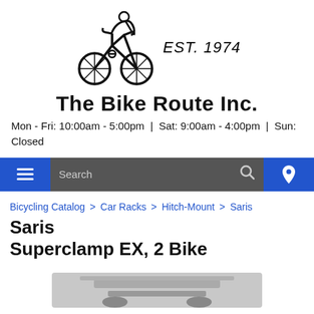[Figure (logo): Cyclist logo with 'EST. 1974' text]
The Bike Route Inc.
Mon - Fri: 10:00am - 5:00pm | Sat: 9:00am - 4:00pm | Sun: Closed
[Figure (screenshot): Navigation bar with hamburger menu, search bar, and location icon]
Bicycling Catalog > Car Racks > Hitch-Mount > Saris
Saris Superclamp EX, 2 Bike
[Figure (photo): Partial product image of bike rack at bottom of page]